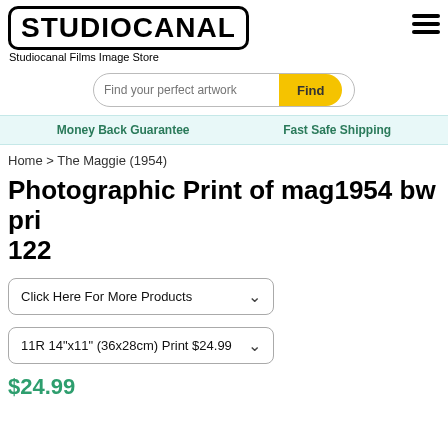STUDIOCANAL
Studiocanal Films Image Store
Find your perfect artwork  Find
Money Back Guarantee   Fast Safe Shipping
Home > The Maggie (1954)
Photographic Print of mag1954 bw pri 122
Click Here For More Products
11R 14"x11" (36x28cm) Print $24.99
$24.99